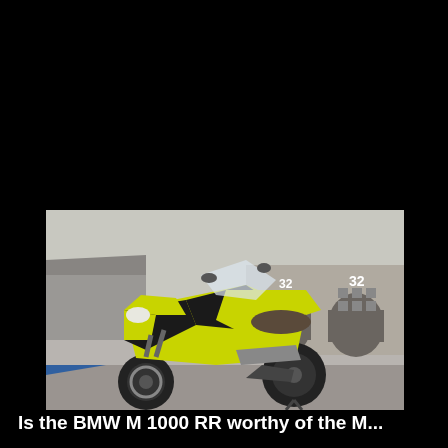[Figure (photo): A yellow and black BMW M 1000 RR superbike motorcycle parked on a racetrack apron, with garage buildings visible in the background. The motorcycle is photographed from a front three-quarter angle.]
Is the BMW M 1000 RR worthy of the M...